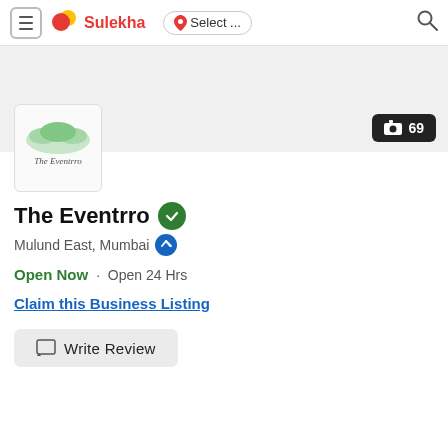Sulekha — Select ... (location) — Search
[Figure (screenshot): The Eventrro business logo — handwritten script text over a floral illustration]
[Figure (screenshot): Camera photo count badge showing 69 photos]
The Eventrro
Mulund East, Mumbai
Open Now · Open 24 Hrs
Claim this Business Listing
Write Review